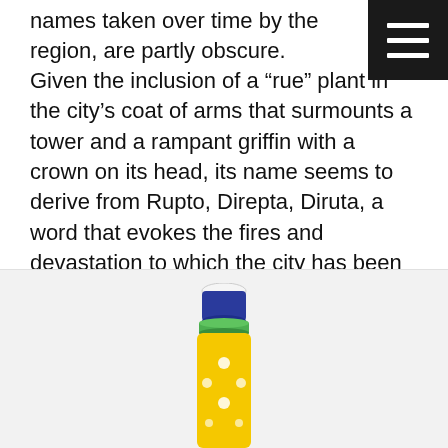names taken over time by the region, are partly obscure. Given the inclusion of a “rue” plant in the city’s coat of arms that surmounts a tower and a rampant griffin with a crown on its head, its name seems to derive from Rupto, Direpta, Diruta, a word that evokes the fires and devastation to which the city has been subjected over time. Deruta has been a small village since the collapse of the Western Roman Empire, where the future artistic art of majolica is beginning to emerge and assert itself. The medieval productions have typical shapes and decorations of the
[Figure (photo): Bottom portion of a majolica ceramic bottle/vase with blue cap, green band, and yellow body with white dot decorations, shown on a light grey background.]